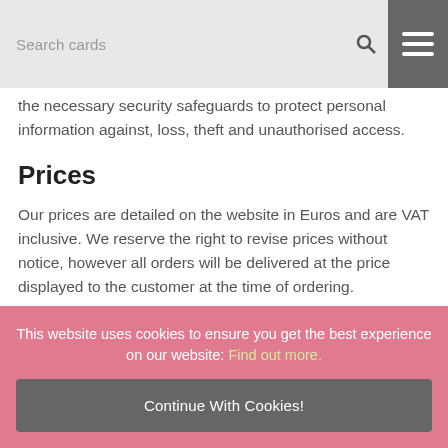Search cards
the necessary security safeguards to protect personal information against, loss, theft and unauthorised access.
Prices
Our prices are detailed on the website in Euros and are VAT inclusive. We reserve the right to revise prices without notice, however all orders will be delivered at the price displayed to the customer at the time of ordering.
This website uses cookies to ensure you get the best experience on our website: Find out more.
Continue With Cookies!